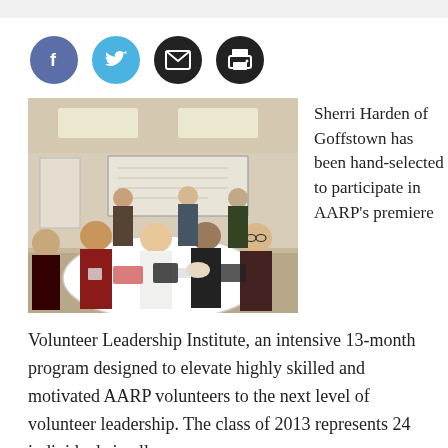[Figure (other): Row of four social media icon circles: Facebook (purple-blue), Twitter (light blue), Email (black envelope), Print (black printer)]
[Figure (photo): Group of adults seated around a round table covered with a white tablecloth in a meeting room, smiling at the camera. Others visible in the background.]
Sherri Harden of Goffstown has been hand-selected to participate in AARP's premiere Volunteer Leadership Institute, an intensive 13-month program designed to elevate highly skilled and motivated AARP volunteers to the next level of volunteer leadership. The class of 2013 represents 24 individuals in all corners